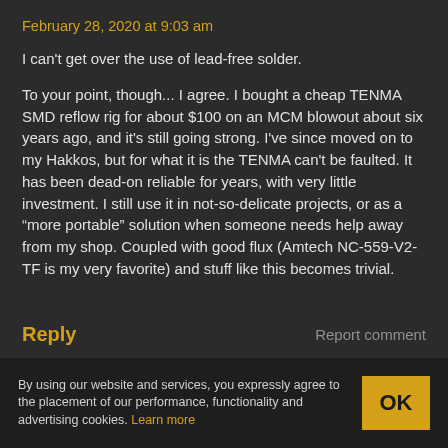February 28, 2020 at 9:03 am
I can't get over the use of lead-free solder.
To your point, though... I agree. I bought a cheap TENMA SMD reflow rig for about $100 on an MCM blowout about six years ago, and it's still going strong. I've since moved on to my Hakkos, but for what it is the TENMA can't be faulted. It has been dead-on reliable for years, with very little investment. I still use it in not-so-delicate projects, or as a “more portable” solution when someone needs help away from my shop. Coupled with good flux (Amtech NC-559-V2-TF is my very favorite) and stuff like this becomes trivial.
Reply
Report comment
By using our website and services, you expressly agree to the placement of our performance, functionality and advertising cookies. Learn more